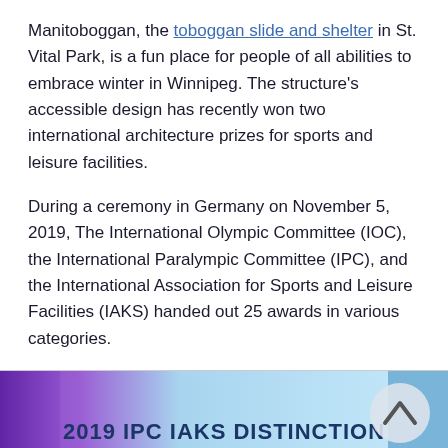Manitoboggan, the toboggan slide and shelter in St. Vital Park, is a fun place for people of all abilities to embrace winter in Winnipeg. The structure's accessible design has recently won two international architecture prizes for sports and leisure facilities.
During a ceremony in Germany on November 5, 2019, The International Olympic Committee (IOC), the International Paralympic Committee (IPC), and the International Association for Sports and Leisure Facilities (IAKS) handed out 25 awards in various categories.
[Figure (other): Banner image for 2019 IPC IAKS DISTINCTION WINNERS with purple and blue gradient background and a scroll-up button]